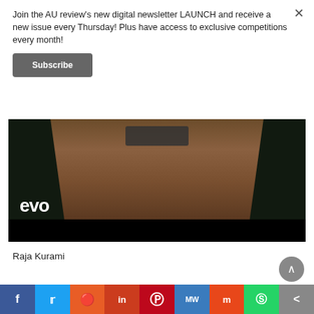Join the AU review's new digital newsletter LAUNCH and receive a new issue every Thursday! Plus have access to exclusive competitions every month!
Subscribe
[Figure (photo): Close-up photo of a woman with long dark hair wearing dark sunglasses, shown from nose down, with 'evo' watermark logo in white at lower left and a black strip at the bottom of the frame.]
Raja Kurami
[Figure (infographic): Social share bar with icons for Facebook, Twitter, Reddit, LinkedIn, Pinterest, MeWe, Mix, WhatsApp, and a share icon.]